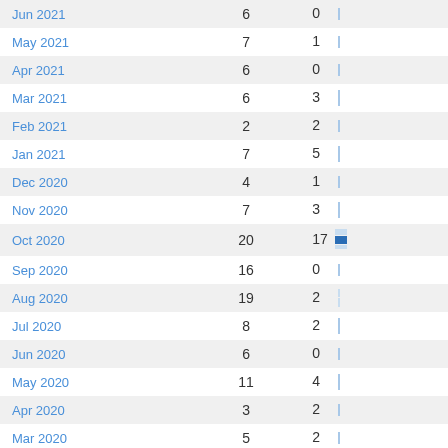| Month | Col1 | Col2 |
| --- | --- | --- |
| Jun 2021 | 6 | 0 |
| May 2021 | 7 | 1 |
| Apr 2021 | 6 | 0 |
| Mar 2021 | 6 | 3 |
| Feb 2021 | 2 | 2 |
| Jan 2021 | 7 | 5 |
| Dec 2020 | 4 | 1 |
| Nov 2020 | 7 | 3 |
| Oct 2020 | 20 | 17 |
| Sep 2020 | 16 | 0 |
| Aug 2020 | 19 | 2 |
| Jul 2020 | 8 | 2 |
| Jun 2020 | 6 | 0 |
| May 2020 | 11 | 4 |
| Apr 2020 | 3 | 2 |
| Mar 2020 | 5 | 2 |
| Feb 2020 | 4 | 11 |